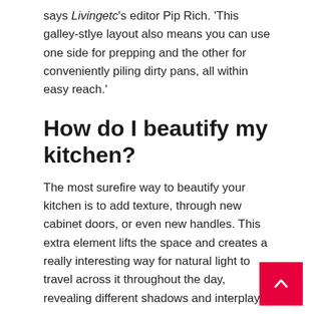says Livingetc’s editor Pip Rich. ‘This galley-stlye layout also means you can use one side for prepping and the other for conveniently piling dirty pans, all within easy reach.’
How do I beautify my kitchen?
The most surefire way to beautify your kitchen is to add texture, through new cabinet doors, or even new handles. This extra element lifts the space and creates a really interesting way for natural light to travel across it throughout the day, revealing different shadows and interplays.
‘We’ve seen a rise in the trend for fluted kitchen islands all of which are truly beautiful,’ says Livingetc’s Editorial Director Sarah Spiteri. ‘However, just adding a ridged